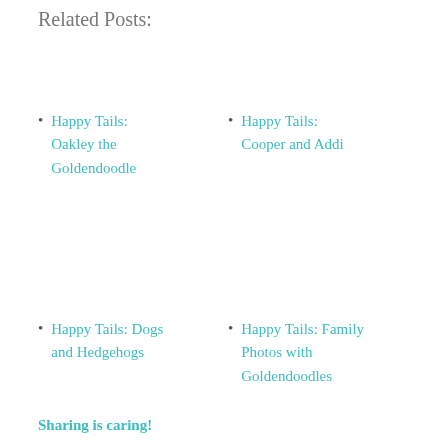Related Posts:
Happy Tails: Oakley the Goldendoodle
Happy Tails: Cooper and Addi
Happy Tails: Dogs and Hedgehogs
Happy Tails: Family Photos with Goldendoodles
Sharing is caring!